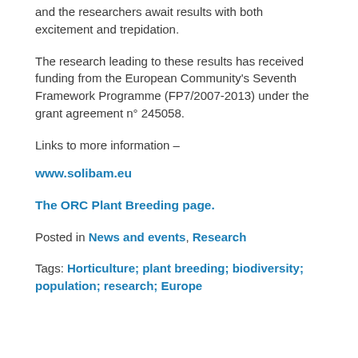and the researchers await results with both excitement and trepidation.
The research leading to these results has received funding from the European Community's Seventh Framework Programme (FP7/2007-2013) under the grant agreement n° 245058.
Links to more information –
www.solibam.eu
The ORC Plant Breeding page.
Posted in News and events, Research
Tags: Horticulture; plant breeding; biodiversity; population; research; Europe